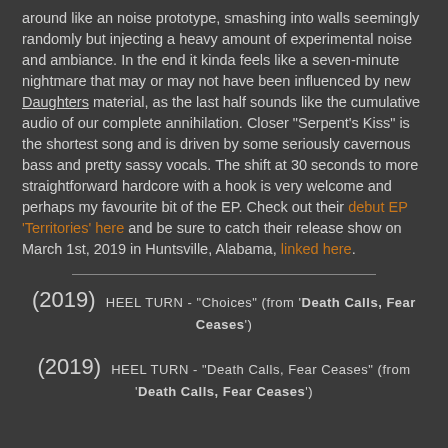around like an noise prototype, smashing into walls seemingly randomly but injecting a heavy amount of experimental noise and ambiance. In the end it kinda feels like a seven-minute nightmare that may or may not have been influenced by new Daughters material, as the last half sounds like the cumulative audio of our complete annihilation. Closer "Serpent's Kiss" is the shortest song and is driven by some seriously cavernous bass and pretty sassy vocals. The shift at 30 seconds to more straightforward hardcore with a hook is very welcome and perhaps my favourite bit of the EP. Check out their debut EP 'Territories' here and be sure to catch their release show on March 1st, 2019 in Huntsville, Alabama, linked here.
(2019) HEEL TURN - "Choices" (from 'Death Calls, Fear Ceases')
(2019) HEEL TURN - "Death Calls, Fear Ceases" (from 'Death Calls, Fear Ceases')